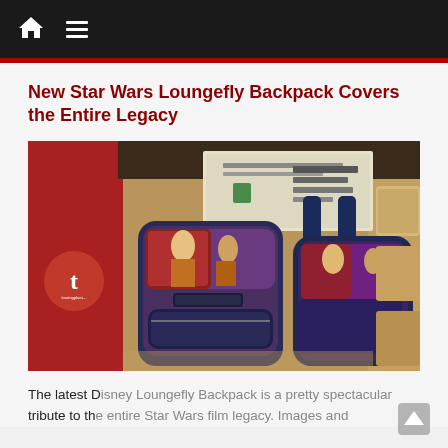Navigation bar with home and menu icons
New Star Wars Loungefly Backpack Covers the Entire Legacy
[Figure (photo): Two Star Wars Loungefly mini backpacks displayed in a Disney store. The backpacks feature colorful Star Wars movie poster artwork. A red circle logo with a 't' is visible on the left side of the image.]
The latest Disney Loungefly Backpack is a pretty spectacular tribute to the entire Star Wars film legacy. Images and